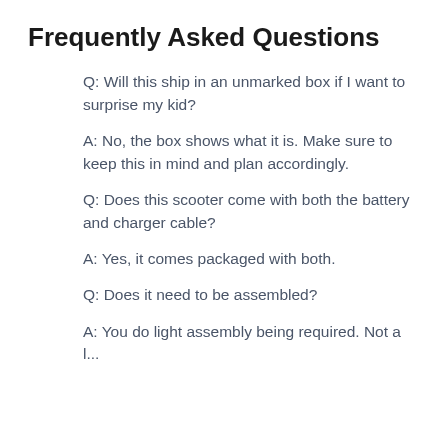Frequently Asked Questions
Q: Will this ship in an unmarked box if I want to surprise my kid?
A: No, the box shows what it is. Make sure to keep this in mind and plan accordingly.
Q: Does this scooter come with both the battery and charger cable?
A: Yes, it comes packaged with both.
Q: Does it need to be assembled?
A: You do light assembly being required. Not a lot...